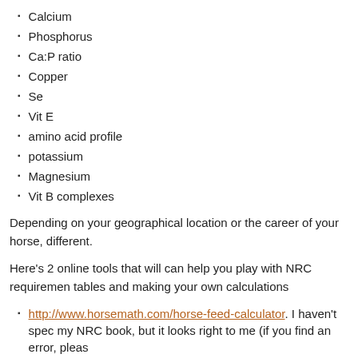Calcium
Phosphorus
Ca:P ratio
Copper
Se
Vit E
amino acid profile
potassium
Magnesium
Vit B complexes
Depending on your geographical location or the career of your horse, different.
Here's 2 online tools that will can help you play with NRC requirements, tables and making your own calculations
http://www.horsemath.com/horse-feed-calculator. I haven't spec my NRC book, but it looks right to me (if you find an error, pleas
http://nrc88.nas.edu/nrh/ – from the national academies
Here's something things to keep in mind when working with NRC tab
You have to pick a hay – I tend to pick a "middle of the road" gra